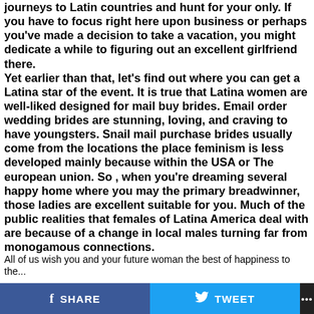journeys to Latin countries and hunt for your only. If you have to focus right here upon business or perhaps you've made a decision to take a vacation, you might dedicate a while to figuring out an excellent girlfriend there. Yet earlier than that, let's find out where you can get a Latina star of the event. It is true that Latina women are well-liked designed for mail buy brides. Email order wedding brides are stunning, loving, and craving to have youngsters. Snail mail purchase brides usually come from the locations the place feminism is less developed mainly because within the USA or The european union. So , when you're dreaming several happy home where you may the primary breadwinner, those ladies are excellent suitable for you. Much of the public realities that females of Latina America deal with are because of a change in local males turning far from monogamous connections. All of us wish you and your future woman the best of happiness to the...
SHARE   TWEET   ...